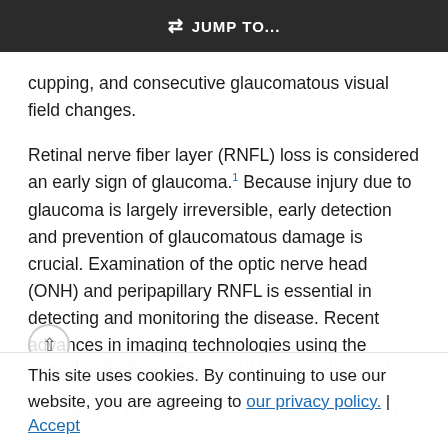JUMP TO...
cupping, and consecutive glaucomatous visual field changes.
Retinal nerve fiber layer (RNFL) loss is considered an early sign of glaucoma. 1 Because injury due to glaucoma is largely irreversible, early detection and prevention of glaucomatous damage is crucial. Examination of the optic nerve head (ONH) and peripapillary RNFL is essential in detecting and monitoring the disease. Recent advances in imaging technologies using the optical properties of the
This site uses cookies. By continuing to use our website, you are agreeing to our privacy policy. | Accept
tomography (OCT) is a noninvasive, noncontact